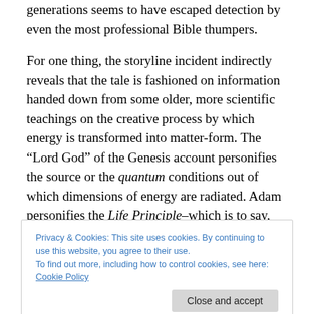generations seems to have escaped detection by even the most professional Bible thumpers.
For one thing, the storyline incident indirectly reveals that the tale is fashioned on information handed down from some older, more scientific teachings on the creative process by which energy is transformed into matter-form. The “Lord God” of the Genesis account personifies the source or the quantum conditions out of which dimensions of energy are radiated. Adam personifies the Life Principle–which is to say, the element of energy activity
Privacy & Cookies: This site uses cookies. By continuing to use this website, you agree to their use.
To find out more, including how to control cookies, see here: Cookie Policy
personification of the Life Principle, “names.”